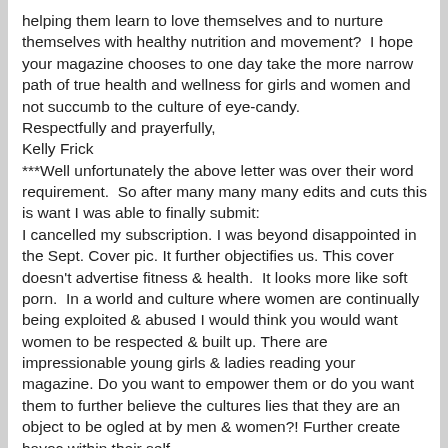helping them learn to love themselves and to nurture themselves with healthy nutrition and movement?  I hope your magazine chooses to one day take the more narrow path of true health and wellness for girls and women and not succumb to the culture of eye-candy.
Respectfully and prayerfully,
Kelly Frick
***Well unfortunately the above letter was over their word requirement.  So after many many many edits and cuts this is want I was able to finally submit:
I cancelled my subscription. I was beyond disappointed in the Sept. Cover pic. It further objectifies us. This cover doesn't advertise fitness & health.  It looks more like soft porn.  In a world and culture where women are continually being exploited & abused I would think you would want women to be respected & built up. There are impressionable young girls & ladies reading your magazine. Do you want to empower them or do you want them to further believe the cultures lies that they are an object to be ogled at by men & women?! Further create havoc within their self